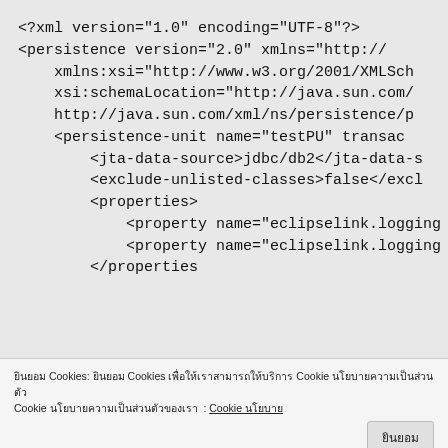<?xml version="1.0" encoding="UTF-8"?>
<persistence version="2.0" xmlns="http://
    xmlns:xsi="http://www.w3.org/2001/XMLSch
    xsi:schemaLocation="http://java.sun.com/
    http://java.sun.com/xml/ns/persistence/p
    <persistence-unit name="testPU" transac
        <jta-data-source>jdbc/db2</jta-data-s
        <exclude-unlisted-classes>false</excl
        <properties>
            <property name="eclipselink.logging
            <property name="eclipselink.logging
        </properties
ยินยอม Cookies: ยินยอม Cookies เพื่อให้เราสามารถให้บริการCookie นโยบายความเป็นส่วนตัว Cookie นโยบายความเป็นส่วนตัว: Cookie นโยบาย